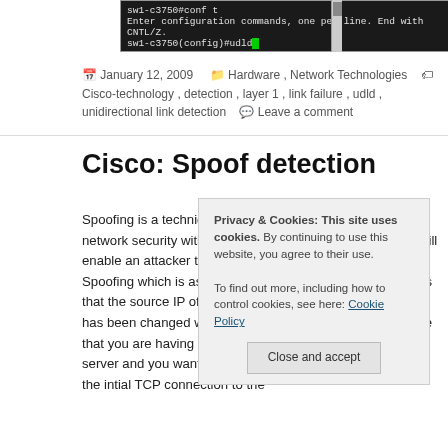[Figure (screenshot): Terminal/CLI window showing Cisco switch commands: 'sw1-c3750#conf t', 'Enter configuration commands, one per line. End with CNTL/Z.', 'sw1-c3750(config)#udld' with green cursor block]
January 12, 2009   Hardware, Network Technologies   Cisco-technology, detection, layer 1, link failure, udld, unidirectional link detection   Leave a comment
Cisco: Spoof detection
Spoofing is a technique which is used to compromise your network security with the intention of traffic capture which will enable an attacker to get access to confidential information. Spoofing which is associated with IP spoofing, which means that the source IP of the packet which arrive to your device has been changed with intention. For example, let's assume that you are having a plain http communication with mail server and you want to login to your mail account. You sent the intial TCP connection to the
Privacy & Cookies: This site uses cookies. By continuing to use this website, you agree to their use. To find out more, including how to control cookies, see here: Cookie Policy
Close and accept